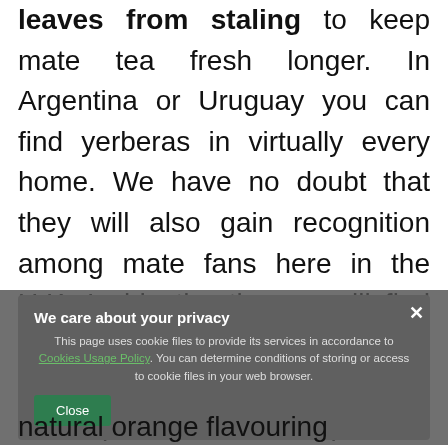leaves from staling to keep mate tea fresh longer. In Argentina or Uruguay you can find yerberas in virtually every home. We have no doubt that they will also gain recognition among mate fans here in the U.K. Inside the tin you will find 0.5 kg of yerba mate. After emptying the can, you can reuse it multiple times and keep inside your favourite mate tea blends.
[Figure (screenshot): Cookie consent popup overlay with title 'We care about your privacy', body text about cookie files, a Cookies Usage Policy link, and a green Close button. The background content is partially obscured by a dark overlay.]
natural orange flavouring